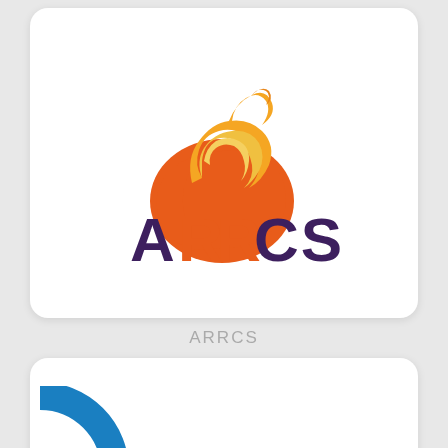[Figure (logo): ARRCS logo: orange circular shape with yellow soft-serve ice cream swirl on top, and the text ARRCS below in dark purple with the two R letters in orange]
ARRCS
[Figure (screenshot): Bottom card partially visible with a green chat bar at the bottom reading 'Chat with us live!' with a speech bubble icon, and a partial circular logo element visible above]
Chat with us live!